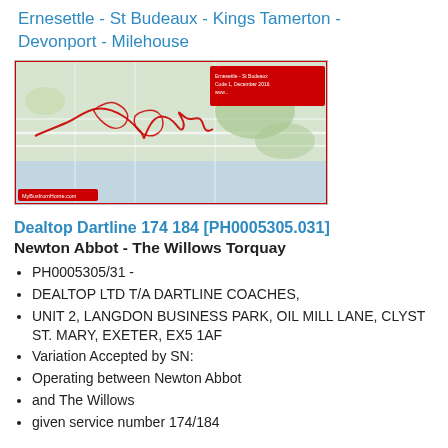Ernesettle - St Budeaux - Kings Tamerton - Devonport - Milehouse
[Figure (map): A map showing a bus route covering Ernesettle, St Budeaux, Kings Tamerton, Devonport, Milehouse area with red route lines overlaid on a street map.]
Dealtop Dartline 174 184 [PH0005305.031]
Newton Abbot - The Willows Torquay
PH0005305/31 -
DEALTOP LTD T/A DARTLINE COACHES,
UNIT 2, LANGDON BUSINESS PARK, OIL MILL LANE, CLYST ST. MARY, EXETER, EX5 1AF
Variation Accepted by SN:
Operating between Newton Abbot
and The Willows
given service number 174/184